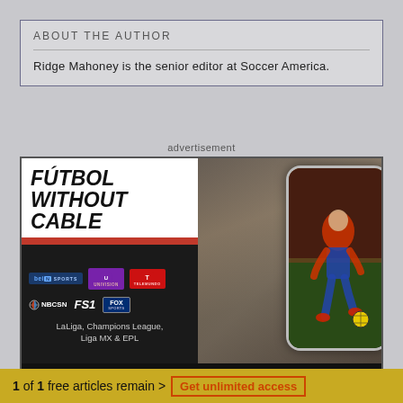ABOUT THE AUTHOR
Ridge Mahoney is the senior editor at Soccer America.
advertisement
[Figure (infographic): FuboTV advertisement showing 'FÚTBOL WITHOUT CABLE' with sports network logos (beIN Sports, Univision, Telemundo, NBCSN, FS1, Fox Sports) and leagues (LaLiga, Champions League, Liga MX & EPL), with a soccer player image inside a phone shape and a 7-Day Free Trial button.]
1 of 1 free articles remain > Get unlimited access